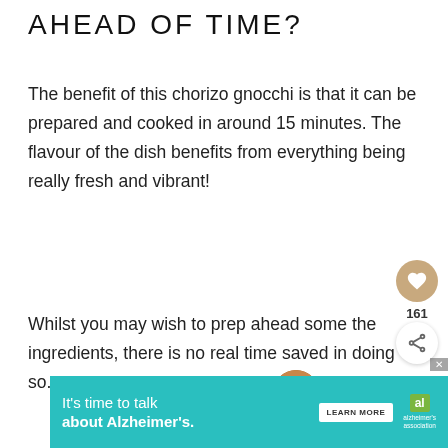AHEAD OF TIME?
The benefit of this chorizo gnocchi is that it can be prepared and cooked in around 15 minutes. The flavour of the dish benefits from everything being really fresh and vibrant!
Whilst you may wish to prep ahead some the ingredients, there is no real time saved in doing so.
[Figure (infographic): Heart/favourite button (gold circle with heart icon), like count 161, and share button (white circle with share icon)]
[Figure (infographic): WHAT'S NEXT panel showing a circular food photo and text 'easy chickpea curry with...']
[Figure (infographic): Advertisement banner: It's time to talk about Alzheimer's. LEARN MORE button, Alzheimer's Association logo. Close button (X).]